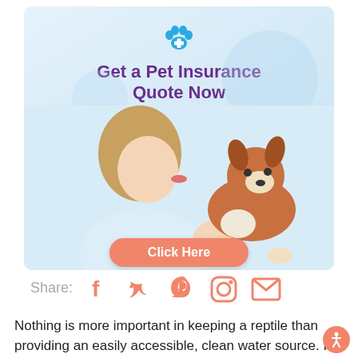[Figure (infographic): Pet insurance advertisement banner with paw print icon, title 'Get a Pet Insurance Quote Now', photo of woman kissing a puppy, and 'Click Here' button]
Share:
[Figure (infographic): Social media share icons: Facebook, Twitter, Pinterest, Instagram, Email — all in orange/coral color]
Nothing is more important in keeping a reptile than providing an easily accessible, clean water source. In fact, water is the most important nutrient. Here's w you need to know: